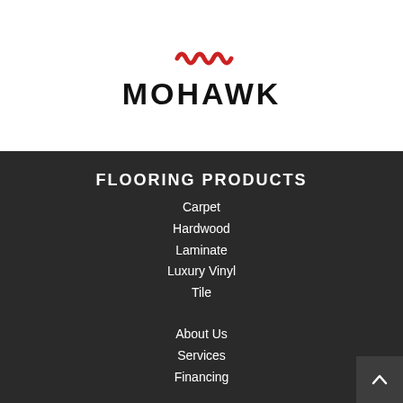[Figure (logo): Mohawk flooring logo with red wave marks above bold black MOHAWK text]
FLOORING PRODUCTS
Carpet
Hardwood
Laminate
Luxury Vinyl
Tile
About Us
Services
Financing